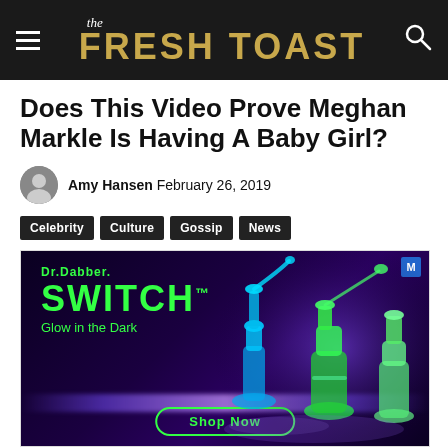the FRESH TOAST
Does This Video Prove Meghan Markle Is Having A Baby Girl?
Amy Hansen February 26, 2019
Celebrity
Culture
Gossip
News
[Figure (photo): Advertisement for Dr.Dabber SWITCH Glow in the Dark product showing glowing glass bongs/dab rigs on a dark purple background with a Shop Now button]